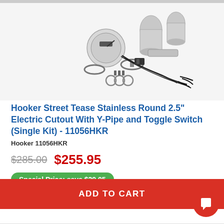[Figure (photo): Product photo of Hooker Street Tease Stainless Round 2.5 inch Electric Cutout kit components including pipes, clamps, wiring harness, toggle switch, hardware, and fittings on white background]
Hooker Street Tease Stainless Round 2.5" Electric Cutout With Y-Pipe and Toggle Switch (Single Kit) - 11056HKR
Hooker 11056HKR
$285.00  $255.95
Special Price: save $29.05
Quick view  COMPARE
ADD TO CART